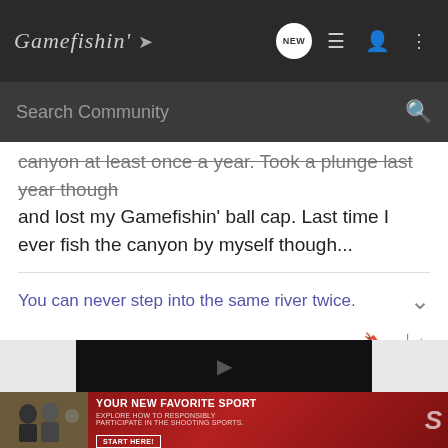Gamefishin' [logo with arrow] — navigation: NEW, list, profile, more
Search Community
canyon at least once a year. Took a plunge last year though and lost my Gamefishin' ball cap. Last time I ever fish the canyon by myself though...
You can never step into the same river twice.
[Figure (screenshot): Video player area (black), below which is an advertisement banner: YOUR NEW FAVORITE SPORT - EXPLORE HOW TO RESPONSIBLY PARTICIPATE IN THE SHOOTING SPORTS. START HERE!]